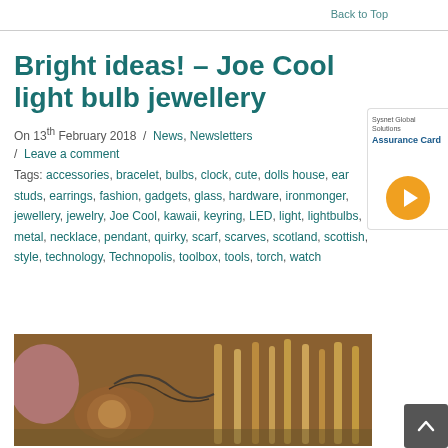Back to Top
Bright ideas! – Joe Cool light bulb jewellery
On 13th February 2018  /  News, Newsletters  /  Leave a comment
Tags: accessories, bracelet, bulbs, clock, cute, dolls house, ear studs, earrings, fashion, gadgets, glass, hardware, ironmonger, jewellery, jewelry, Joe Cool, kawaii, keyring, LED, light, lightbulbs, metal, necklace, pendant, quirky, scarf, scarves, scotland, scottish, style, technology, Technopolis, toolbox, tools, torch, watch
[Figure (photo): Close-up photo of light bulb jewellery including glass bulbs and metallic accessories on a surface]